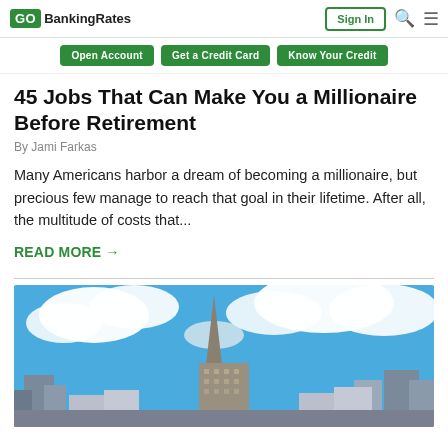GO BankingRates | Sign In | Search | Menu
Open Account | Get a Credit Card | Know Your Credit
45 Jobs That Can Make You a Millionaire Before Retirement
By Jami Farkas
Many Americans harbor a dream of becoming a millionaire, but precious few manage to reach that goal in their lifetime. After all, the multitude of costs that...
READ MORE →
[Figure (photo): City skyline with a tall spire building against a blue sky with white clouds]